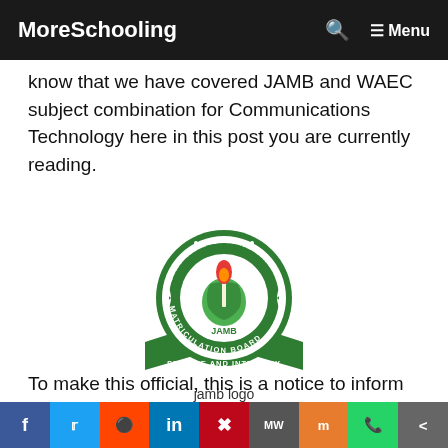MoreSchooling  🔍  ≡ Menu
know that we have covered JAMB and WAEC subject combination for Communications Technology here in this post you are currently reading.
[Figure (logo): JAMB (Joint Admissions and Matriculation Board) circular logo with torch, green map, and text 'Service and Integrity']
jamb logo
To make this official, this is a notice to inform all JAMB and WAEC candidates who will be
f  Twitter  Reddit  in  Pinterest  MW  Mix  WhatsApp  Share